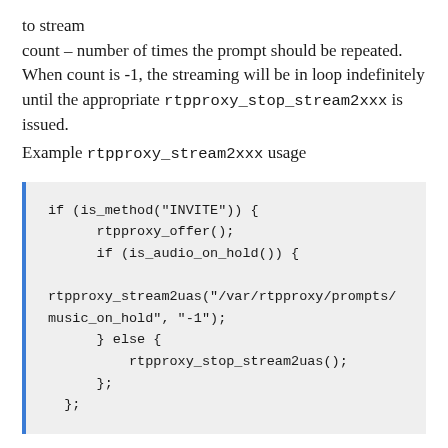to stream
count – number of times the prompt should be repeated. When count is -1, the streaming will be in loop indefinitely until the appropriate rtpproxy_stop_stream2xxx is issued.
Example rtpproxy_stream2xxx usage
[Figure (other): Code block showing Kamailio script example using rtpproxy_stream2uas and rtpproxy_stop_stream2uas functions inside an is_method INVITE check with is_audio_on_hold condition.]